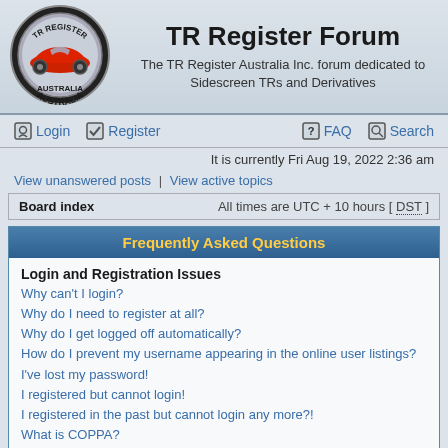[Figure (logo): TR Register Australia circular logo with red sports car]
TR Register Forum
The TR Register Australia Inc. forum dedicated to Sidescreen TRs and Derivatives
Login | Register | FAQ | Search
It is currently Fri Aug 19, 2022 2:36 am
View unanswered posts | View active topics
Board index   All times are UTC + 10 hours [ DST ]
Frequently Asked Questions
Login and Registration Issues
Why can't I login?
Why do I need to register at all?
Why do I get logged off automatically?
How do I prevent my username appearing in the online user listings?
I've lost my password!
I registered but cannot login!
I registered in the past but cannot login any more?!
What is COPPA?
Why can't I register?
What does the "Delete all board cookies" do?
User Preferences and settings
How do I change my settings?